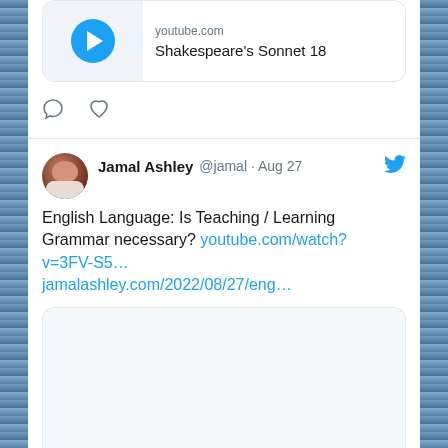[Figure (screenshot): YouTube video preview card showing play button icon, 'youtube.com' domain label, and title 'Shakespeare's Sonnet 18']
[Figure (infographic): Twitter/X interaction icons: comment bubble and heart/like icon]
Jamal Ashley @jamal · Aug 27
English Language: Is Teaching / Learning Grammar necessary? youtube.com/watch?v=3FV-S5… jamalashley.com/2022/08/27/eng…
[Figure (screenshot): Blank/loading link preview image area for the YouTube video]
jamalashley.com